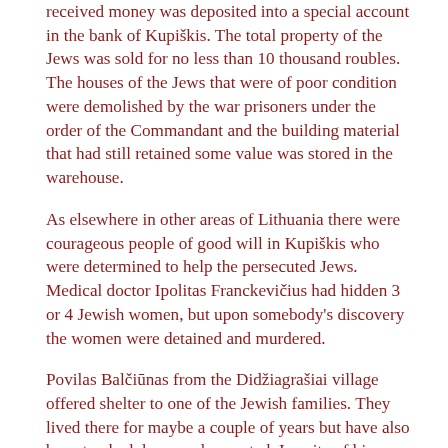received money was deposited into a special account in the bank of Kupiškis. The total property of the Jews was sold for no less than 10 thousand roubles. The houses of the Jews that were of poor condition  were demolished by the war prisoners under the order of the Commandant and the building material that had still retained some value was stored in the warehouse.
As elsewhere in other areas of Lithuania there were courageous people of good will in Kupiškis who were determined to help the persecuted Jews. Medical doctor Ipolitas Franckevičius had hidden 3 or 4 Jewish women, but upon somebody's discovery the women were detained and murdered.
Povilas Balčiūnas from the Didžiagrašiai village offered shelter to one of the Jewish families. They lived there for maybe a couple of years but have also been tracked down and executed. In spite of his noble and risky gesture the Soviets exiled the Balčiūnas family to Siberia for 10 years in the postwar times. Some Jews survived the Nazi occupation and after the war returned to Kupiškis or other Lithuanian towns and cities for a longer or shorter period of time. Ginsburgas, Sniegas, Abromienė, Ida Gafanovičiūtė should be mentioned among those. The family of peasant Povilas Vilkas from the village of Laukminiškiai had hidden a young Jewish man who